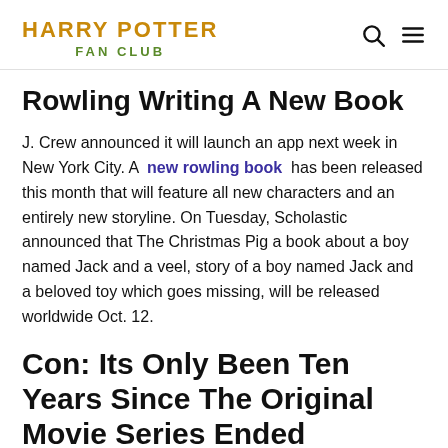HARRY POTTER FAN CLUB
Rowling Writing A New Book
J. Crew announced it will launch an app next week in New York City. A new rowling book has been released this month that will feature all new characters and an entirely new storyline. On Tuesday, Scholastic announced that The Christmas Pig a book about a boy named Jack and a veel, story of a boy named Jack and a beloved toy which goes missing, will be released worldwide Oct. 12.
Con: Its Only Been Ten Years Since The Original Movie Series Ended